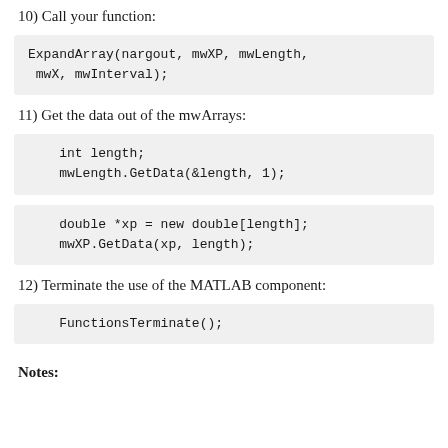10) Call your function:
ExpandArray(nargout, mwXP, mwLength,
 mwX, mwInterval);
11) Get the data out of the mwArrays:
int length;
mwLength.GetData(&length, 1);
double *xp = new double[length];
mwXP.GetData(xp, length);
12) Terminate the use of the MATLAB component:
FunctionsTerminate();
Notes: